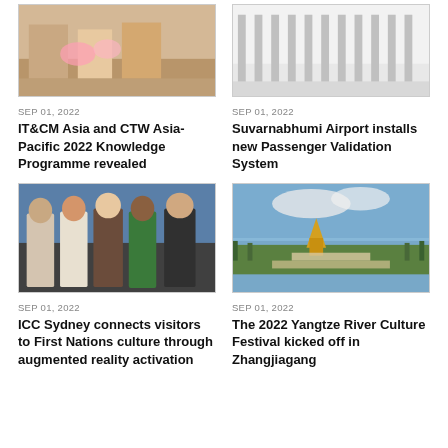[Figure (photo): People sitting at a table with pink flowers, event/conference setting]
[Figure (photo): Airport passenger validation gates/turnstiles in a modern terminal]
SEP 01, 2022
IT&CM Asia and CTW Asia-Pacific 2022 Knowledge Programme revealed
SEP 01, 2022
Suvarnabhumi Airport installs new Passenger Validation System
[Figure (photo): Group of five people posing together at an event, blue background]
[Figure (photo): Aerial view of a cultural festival site by a river at sunset with illuminated structures]
SEP 01, 2022
ICC Sydney connects visitors to First Nations culture through augmented reality activation
SEP 01, 2022
The 2022 Yangtze River Culture Festival kicked off in Zhangjiagang